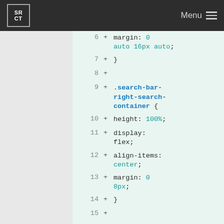[Figure (screenshot): Website header bar with SRCT logo on left and Menu hamburger icon on right, dark background]
Code diff view showing CSS additions: lines 6-17 of a stylesheet with .search-bar-right-search-container and .search-bar-search-icon rules
6  +    margin: 0 auto 16px auto;
7  + }
8  +
9  + .search-bar-right-search-container { height: 100%; display: flex; align-items: center; margin: 0 8px; }
10  +    height: 100%;
11  +    display: flex;
12  +    align-items: center;
13  +    margin: 0 8px;
14  + }
15  +
16  + .search-bar-search-icon {
17  +    display: block;